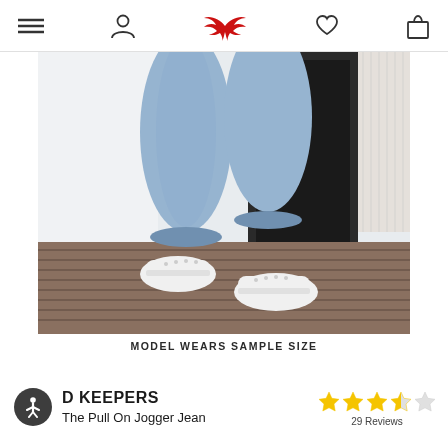Navigation bar with menu, profile, bird logo, heart, and bag icons
[Figure (photo): Lower body of a person wearing light blue jogger jeans and white sneakers, standing on a wooden deck outside a house with a dark door]
MODEL WEARS SAMPLE SIZE
D KEEPERS
The Pull On Jogger Jean
[Figure (other): Star rating: 3.5 out of 5 stars, 29 Reviews]